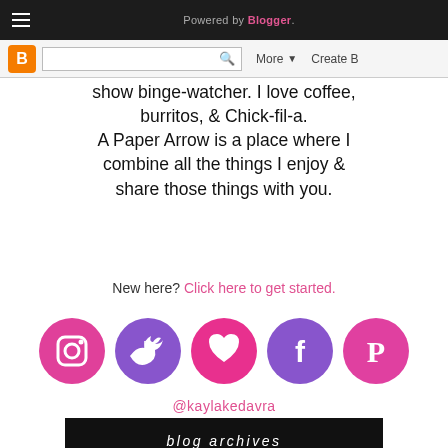Powered by Blogger.
show binge-watcher. I love coffee, burritos, & Chick-fil-a.
A Paper Arrow is a place where I combine all the things I enjoy & share those things with you.
New here? Click here to get started.
[Figure (illustration): Five circular social media icons in a row: Instagram (pink), Twitter (purple), Heart/Bloglovin (pink), Facebook (purple), Pinterest (pink)]
@kaylakedavra
blog archives
FEBRUARY 2016 (17)